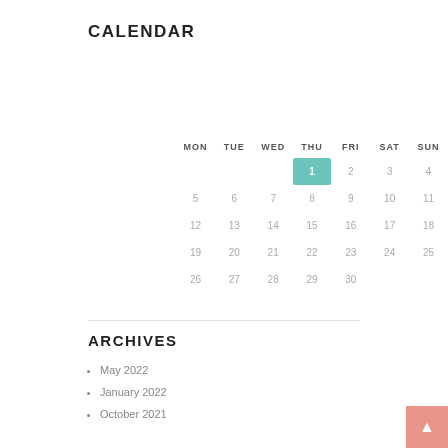CALENDAR
| MON | TUE | WED | THU | FRI | SAT | SUN |
| --- | --- | --- | --- | --- | --- | --- |
|  |  |  | 1 | 2 | 3 | 4 |
| 5 | 6 | 7 | 8 | 9 | 10 | 11 |
| 12 | 13 | 14 | 15 | 16 | 17 | 18 |
| 19 | 20 | 21 | 22 | 23 | 24 | 25 |
| 26 | 27 | 28 | 29 | 30 |  |  |
ARCHIVES
May 2022
January 2022
October 2021